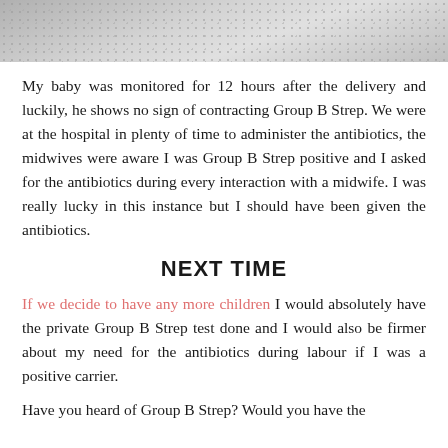[Figure (photo): Close-up photo of a knitted or woven grey fabric/textile, partial view at top of page]
My baby was monitored for 12 hours after the delivery and luckily, he shows no sign of contracting Group B Strep. We were at the hospital in plenty of time to administer the antibiotics, the midwives were aware I was Group B Strep positive and I asked for the antibiotics during every interaction with a midwife. I was really lucky in this instance but I should have been given the antibiotics.
NEXT TIME
If we decide to have any more children I would absolutely have the private Group B Strep test done and I would also be firmer about my need for the antibiotics during labour if I was a positive carrier.
Have you heard of Group B Strep? Would you have the